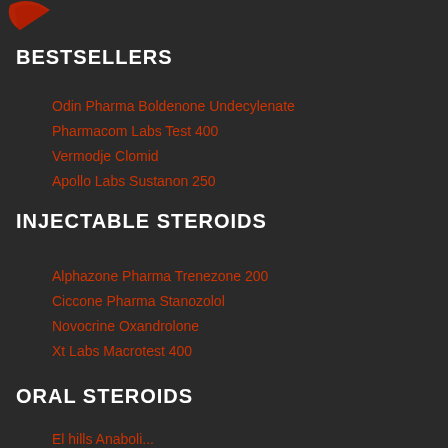[Figure (logo): Red logo mark in top-left corner, partially visible]
BESTSELLERS
Odin Pharma Boldenone Undecylenate
Pharmacom Labs Test 400
Vermodje Clomid
Apollo Labs Sustanon 250
INJECTABLE STEROIDS
Alphazone Pharma Trenezone 200
Ciccone Pharma Stanozolol
Novocrine Oxandrolone
Xt Labs Macrotest 400
ORAL STEROIDS
El hills Anaboli...